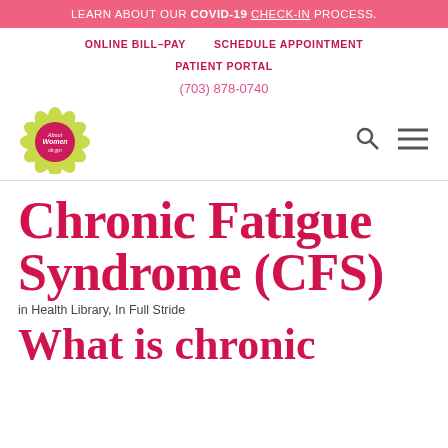LEARN ABOUT OUR COVID-19 CHECK-IN PROCESS.
ONLINE BILL-PAY   SCHEDULE APPOINTMENT
PATIENT PORTAL
(703) 878-0740
[Figure (logo): About Women OB-GYN logo — sunflower with pink circle center reading 'About Women ob-gyn']
Chronic Fatigue Syndrome (CFS)
in Health Library, In Full Stride
What is chronic